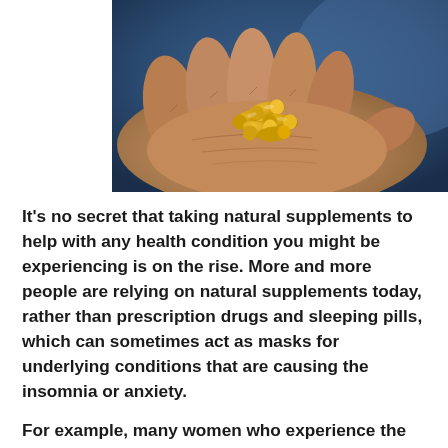[Figure (photo): Close-up photo of an open hand holding several orange/yellow supplement capsules or pills, with a blurred blue background.]
It's no secret that taking natural supplements to help with any health condition you might be experiencing is on the rise. More and more people are relying on natural supplements today, rather than prescription drugs and sleeping pills, which can sometimes act as masks for underlying conditions that are causing the insomnia or anxiety.
For example, many women who experience the negative side effects of